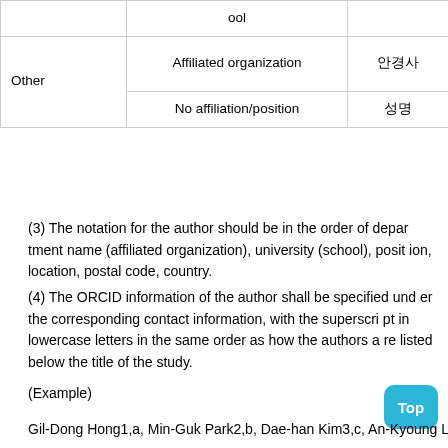|  |  | 안경사 | Optometrist |
| --- | --- | --- | --- |
|  | ool |  |  |
| Other | Affiliated organization | 안경사 | Optometrist |
| Other | No affiliation/position | 성명 | - |
(3) The notation for the author should be in the order of department name (affiliated organization), university (school), position, location, postal code, country. (4) The ORCID information of the author shall be specified under the corresponding contact information, with the superscript in lowercase letters in the same order as how the authors are listed below the title of the study.
(Example)
Gil-Dong Hong1,a, Min-Guk Park2,b, Dae-han Kim3,c, An-Kyoung L